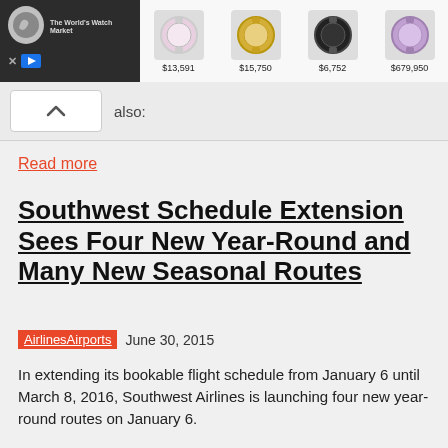[Figure (screenshot): Ad banner with watch marketplace logo on left dark background, and watch product images with prices: $13,591, $15,750, $6,752, $679,950 on right]
also:
Read more
Southwest Schedule Extension Sees Four New Year-Round and Many New Seasonal Routes
AirlinesAirports  June 30, 2015
In extending its bookable flight schedule from January 6 until March 8, 2016, Southwest Airlines is launching four new year-round routes on January 6.
Read more
Southwest Announces Eight New International Services from Houston Hobby